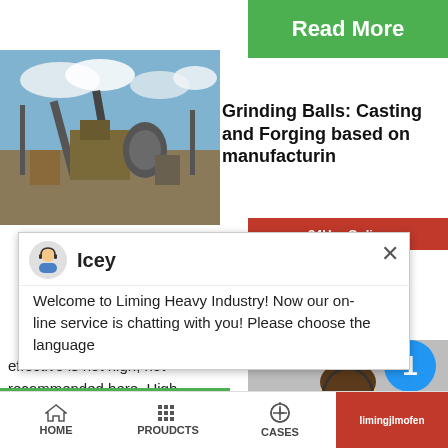[Figure (screenshot): Green Read More button in top right area]
[Figure (photo): Industrial mining/crushing plant with machinery and cloudy sky]
Grinding Balls: Casting and Forging based on manufacturing
[Figure (screenshot): Red 24Hrs Online bar]
[Figure (screenshot): Chat popup from Icey agent: Welcome to Liming Heavy Industry! Now our on-line service is chatting with you! Please choose the language]
effective is not high, not recommended here. High has good hardness and is a kind of high-quality w material.
[Figure (screenshot): Right side customer service panel with chat now button, enquiry, and limingjlmofen options]
HOME   PROUDCTS   CASES   limingjlmofen